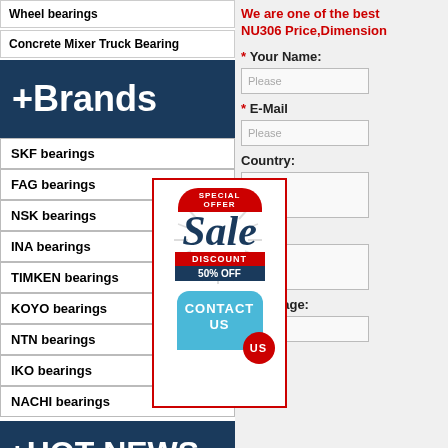Wheel bearings
Concrete Mixer Truck Bearing
+Brands
SKF bearings
FAG bearings
NSK bearings
INA bearings
TIMKEN bearings
KOYO bearings
NTN bearings
IKO bearings
NACHI bearings
+HOT NEWS
NSK NCF3048CV Bearing
NTN 6000-2RS Bearing
NSK NU1022M Bearing
We are one of the best NU306 Price,Dimension
* Your Name:
Please
* E-Mail
Please
Country:
Phone:
* Message:
[Figure (infographic): Special Offer Sale Discount 50% OFF promotional badge with Contact Us speech bubble]